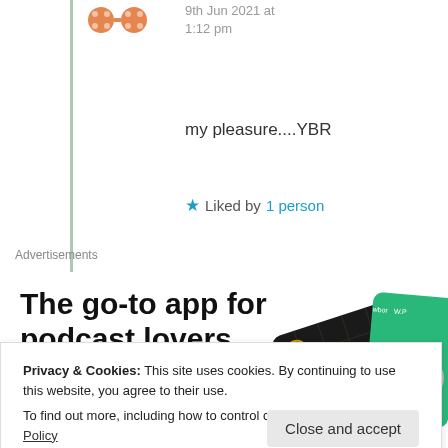9th Jun 2021 at 1:12 pm
my pleasure....YBR
★ Liked by 1 person
Advertisements
[Figure (illustration): Advertisement for a podcast app: bold text 'The go-to app for podcast lovers.' with 'Download now' in red, alongside a decorative image of app cards (black and green).]
Privacy & Cookies: This site uses cookies. By continuing to use this website, you agree to their use. To find out more, including how to control cookies, see here: Cookie Policy
Close and accept